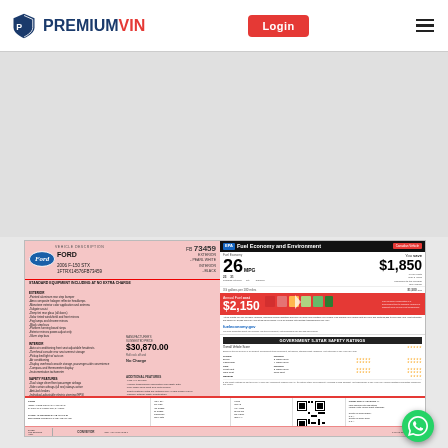PREMIUMVIN — Login button — Hamburger menu
[Figure (screenshot): Ford 2006 F-150 STX Monroney sticker / window label showing vehicle description, standard equipment list, MSRP $30,870.00, total vehicle price $31,700.00, EPA Fuel Economy 26 MPG combined / 23 city / 31 highway, annual fuel cost $2,150, save $1,850, and NHTSA 5-star safety ratings. Ford logo visible. Bottom strip shows dealer/manufacturer info, QR code, and item number. WhatsApp chat button overlaid bottom right.]
Ford 2006 F-150 STX — VIN: 1FTRX14576FB73459 — FB 73459